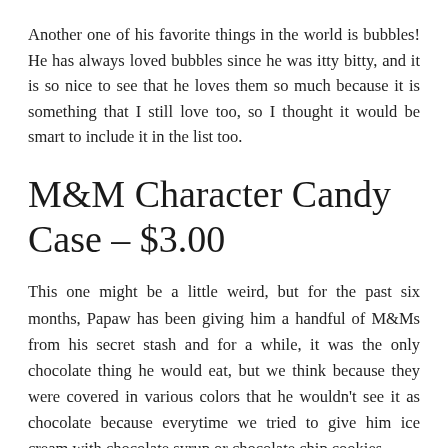Another one of his favorite things in the world is bubbles! He has always loved bubbles since he was itty bitty, and it is so nice to see that he loves them so much because it is something that I still love too, so I thought it would be smart to include it in the list too.
M&M Character Candy Case – $3.00
This one might be a little weird, but for the past six months, Papaw has been giving him a handful of M&Ms from his secret stash and for a while, it was the only chocolate thing he would eat, but we think because they were covered in various colors that he wouldn't see it as chocolate because everytime we tried to give him ice cream with chocolate syrup or chocolate chip cookies,